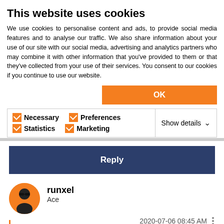This website uses cookies
We use cookies to personalise content and ads, to provide social media features and to analyse our traffic. We also share information about your use of our site with our social media, advertising and analytics partners who may combine it with other information that you've provided to them or that they've collected from your use of their services. You consent to our cookies if you continue to use our website.
OK
Necessary  Preferences  Statistics  Marketing  Show details
Reply
runxel
Ace
2020-07-06 08:45 AM